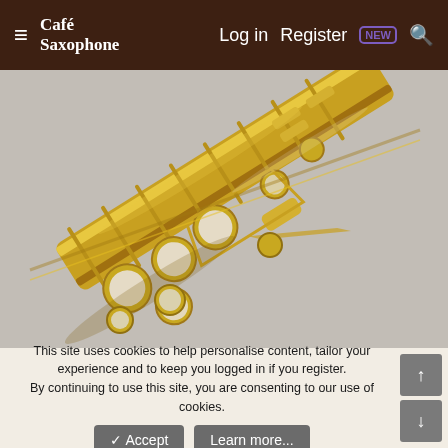≡ Café Saxophone   Log in   Register NEW 🔍
[Figure (photo): Close-up photograph of a gold-lacquered soprano or alto saxophone showing the keys, pads, and keywork mechanism against a grey background]
This site uses cookies to help personalise content, tailor your experience and to keep you logged in if you register.
By continuing to use this site, you are consenting to our use of cookies.
✓ Accept   Learn more...